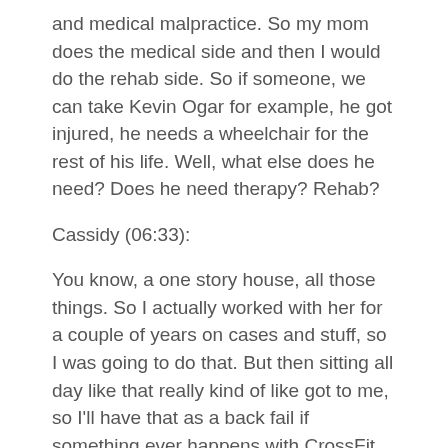and medical malpractice. So my mom does the medical side and then I would do the rehab side. So if someone, we can take Kevin Ogar for example, he got injured, he needs a wheelchair for the rest of his life. Well, what else does he need? Does he need therapy? Rehab?
Cassidy (06:33):
You know, a one story house, all those things. So I actually worked with her for a couple of years on cases and stuff, so I was going to do that. But then sitting all day like that really kind of like got to me, so I’ll have that as a back fail if something ever happens with CrossFit and the gym right now. But that’s kind of how I got into it, but that was my goal. That was my career. And then all of a sudden CrossFit happened.